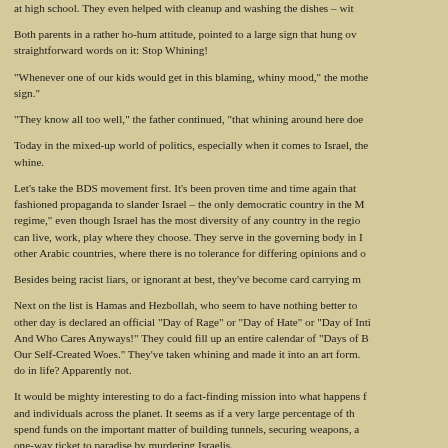at high school. They even helped with cleanup and washing the dishes – wit
Both parents in a rather ho-hum attitude, pointed to a large sign that hung ove straightforward words on it: Stop Whining!
"Whenever one of our kids would get in this blaming, whiny mood," the mothe sign."
"They know all too well," the father continued, "that whining around here doe
Today in the mixed-up world of politics, especially when it comes to Israel, the whine.
Let's take the BDS movement first. It's been proven time and time again that fashioned propaganda to slander Israel – the only democratic country in the M regime," even though Israel has the most diversity of any country in the regio can live, work, play where they choose. They serve in the governing body in I other Arabic countries, where there is no tolerance for differing opinions and o
Besides being racist liars, or ignorant at best, they've become card carrying m
Next on the list is Hamas and Hezbollah, who seem to have nothing better to other day is declared an official "Day of Rage" or "Day of Hate" or "Day of Inti And Who Cares Anyways!" They could fill up an entire calendar of "Days of B Our Self-Created Woes." They've taken whining and made it into an art form. do in life? Apparently not.
It would be mighty interesting to do a fact-finding mission into what happens f and individuals across the planet. It seems as if a very large percentage of th spend funds on the important matter of building tunnels, securing weapons, a one-way ticket to paradise by murdering Israelis.
The only thing I can figure is that the "leadership" of these racist organization